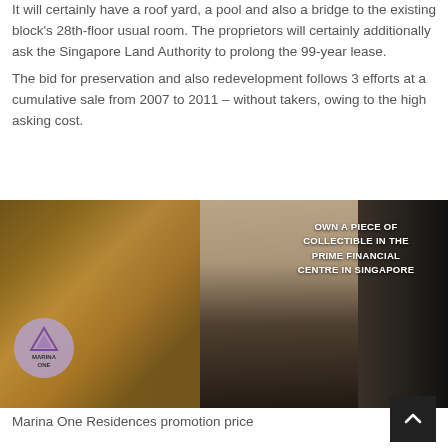It will certainly have a roof yard, a pool and also a bridge to the existing block's 28th-floor usual room. The proprietors will certainly additionally ask the Singapore Land Authority to prolong the 99-year lease. The bid for preservation and also redevelopment follows 3 efforts at a cumulative sale from 2007 to 2011 – without takers, owing to the high asking cost.
[Figure (photo): Interior photo of a luxury apartment showing bookshelves, modern furniture, large windows, and overlay text reading 'OWN A PIECE OF COLLECTIBLE IN THE PRIME FINANCIAL CENTRE IN SINGAPORE'. Marina One logo badge visible in lower left.]
Marina One Residences promotion price